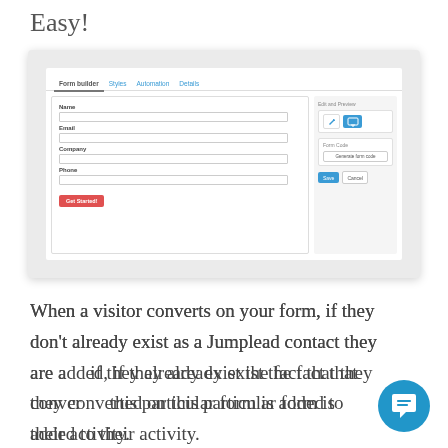Easy!
[Figure (screenshot): Form builder UI screenshot showing a web form with fields for Name, Email, Company, Phone, a Get Started button, and a right panel with Edit and Preview icons, Form Code section with Generate form code button, and Save/Cancel buttons. Tabs at top: Form builder, Styles, Automation, Details.]
When a visitor converts on your form, if they don't already exist as a Jumplead contact they are added, if they already exist the fact that they converted on this particular form is added to their activity.